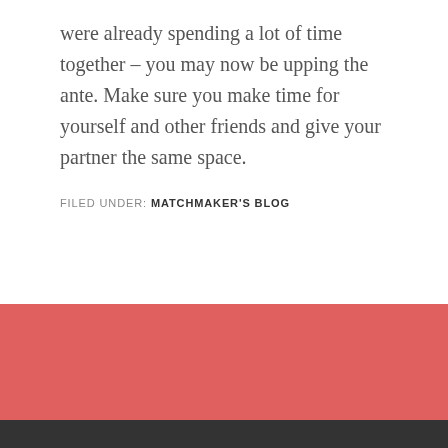were already spending a lot of time together – you may now be upping the ante. Make sure you make time for yourself and other friends and give your partner the same space.
FILED UNDER: MATCHMAKER'S BLOG